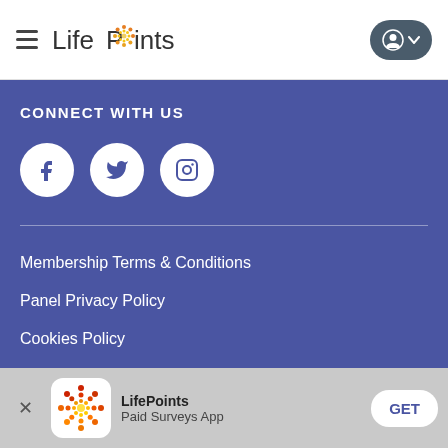LifePoints
CONNECT WITH US
[Figure (illustration): Three social media icons in white circles on purple background: Facebook, Twitter, Instagram]
Membership Terms & Conditions
Panel Privacy Policy
Cookies Policy
Rewards Programme Terms
Sitemap
LifePoints Paid Surveys App GET